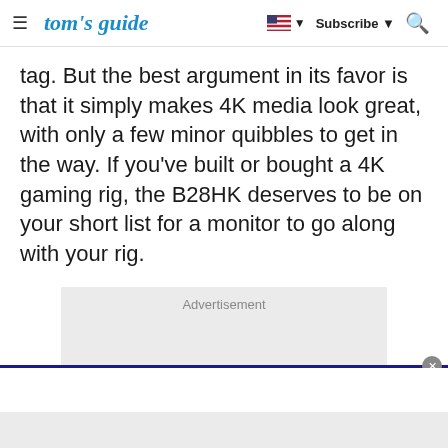tom's guide | Subscribe
tag. But the best argument in its favor is that it simply makes 4K media look great, with only a few minor quibbles to get in the way. If you've built or bought a 4K gaming rig, the B28HK deserves to be on your short list for a monitor to go along with your rig.
[Figure (other): Advertisement placeholder box with label 'Advertisement' centered at top, gray background]